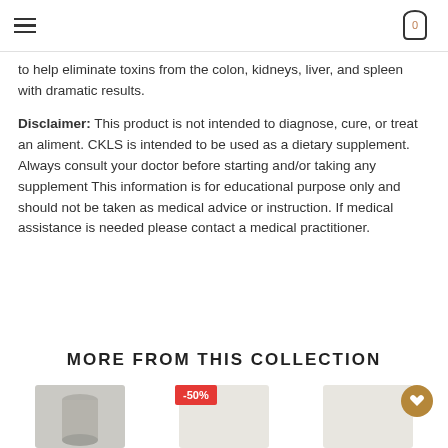Navigation menu and shopping cart icon (0 items)
to help eliminate toxins from the colon, kidneys, liver, and spleen with dramatic results.
Disclaimer: This product is not intended to diagnose, cure, or treat an aliment. CKLS is intended to be used as a dietary supplement. Always consult your doctor before starting and/or taking any supplement This information is for educational purpose only and should not be taken as medical advice or instruction. If medical assistance is needed please contact a medical practitioner.
MORE FROM THIS COLLECTION
[Figure (photo): Product thumbnail image (grey/silver cylindrical product)]
[Figure (photo): Product thumbnail with -50% discount badge in red]
[Figure (photo): Product thumbnail with gold wishlist/heart button]